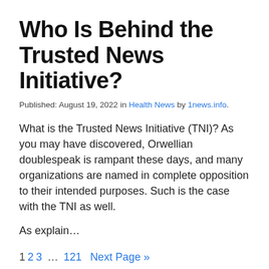Who Is Behind the Trusted News Initiative?
Published: August 19, 2022 in Health News by 1news.info.
What is the Trusted News Initiative (TNI)? As you may have discovered, Orwellian doublespeak is rampant these days, and many organizations are named in complete opposition to their intended purposes. Such is the case with the TNI as well.
As explain…
1 2 3 … 121 Next Page »
Finance Advice 2021